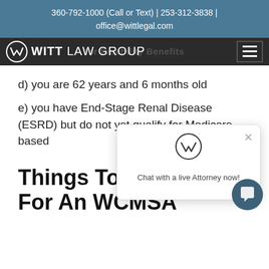360-792-1000 (Call or Text) | 253-312-3838 | office@wittlegal.com
[Figure (logo): Witt Law Group logo with circular W emblem on dark navigation bar]
d) you are 62 years and 6 months old
e) you have End-Stage Renal Disease (ESRD) but do not yet qualify for Medicare based
[Figure (screenshot): Chat popup widget with Witt Law Group W logo icon and text 'Chat with a live Attorney now!' with X close button]
Things To Consider For An WCMSA